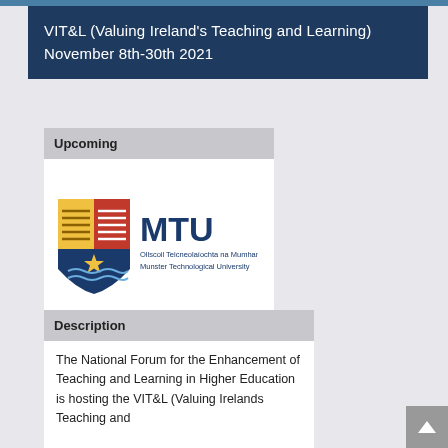VIT&L (Valuing Ireland's Teaching and Learning) November 8th-30th 2021
Upcoming
[Figure (logo): MTU - Munster Technological University logo. Shield crest on the left with red, yellow, blue sections and a star. 'MTU' in large dark blue text. Below: 'Ollscoil Teicneolaíochta na Mumhan / Munster Technological University' in smaller blue text.]
Description
The National Forum for the Enhancement of Teaching and Learning in Higher Education is hosting the VIT&L (Valuing Irelands Teaching and Learning) Event...